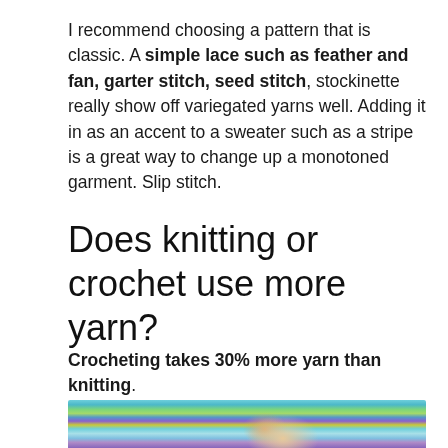I recommend choosing a pattern that is classic. A simple lace such as feather and fan, garter stitch, seed stitch, stockinette really show off variegated yarns well. Adding it in as an accent to a sweater such as a stripe is a great way to change up a monotoned garment. Slip stitch.
Does knitting or crochet use more yarn?
Crocheting takes 30% more yarn than knitting.
[Figure (photo): A person partially hidden behind colorful blue, green, and purple yarn or knitted/crocheted fabric, with blonde hair and visible eyes.]